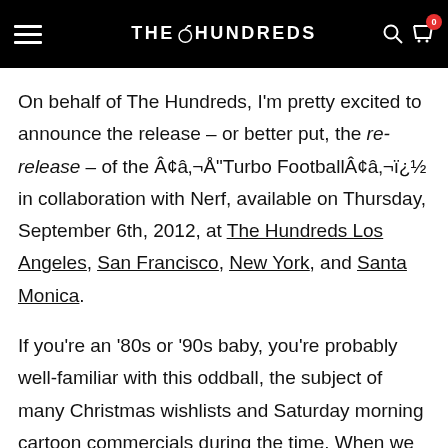THE HUNDREDS
On behalf of The Hundreds, I'm pretty excited to announce the release – or better put, the re-release – of the Â¢â‚¬Å"Turbo FootballÂ¢â‚¬ï¿½ in collaboration with Nerf, available on Thursday, September 6th, 2012, at The Hundreds Los Angeles, San Francisco, New York, and Santa Monica.
If you're an '80s or '90s baby, you're probably well-familiar with this oddball, the subject of many Christmas wishlists and Saturday morning cartoon commercials during the time. When we were presented with the opportunity to work with Nerf, we immediately gravitated toward reviving the "Turbo"